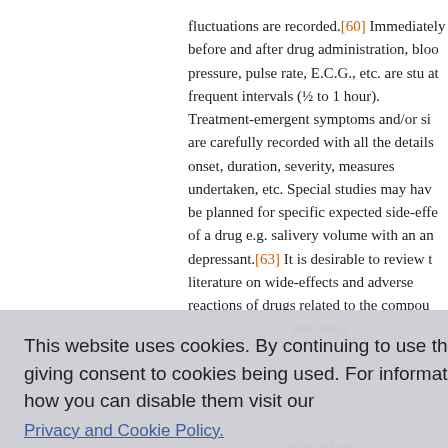fluctuations are recorded.[60] Immediately before and after drug administration, blood pressure, pulse rate, E.C.G., etc. are studied at frequent intervals (½ to 1 hour). Treatment-emergent symptoms and/or signs are carefully recorded with all the details of onset, duration, severity, measures undertaken, etc. Special studies may have be planned for specific expected side-effects of a drug e.g. salivery volume with an anti-depressant.[63] It is desirable to review the literature on wide-effects and adverse reactions of drugs related to the compound... eticulous ...oring of org...ory tests,...etection of...changes....ctions...? studies....the natur...noice of te...e common...carried out basally, during the drug administration and at the end of therapy.
This website uses cookies. By continuing to use this website you are giving consent to cookies being used. For information on cookies and how you can disable them visit our
Privacy and Cookie Policy.
AGREE & PROCEED